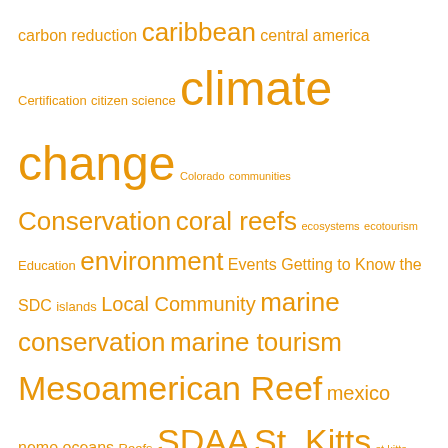carbon reduction caribbean central america Certification citizen science climate change Colorado communities Conservation coral reefs ecosystems ecotourism Education environment Events Getting to Know the SDC islands Local Community marine conservation marine tourism Mesoamerican Reef mexico nemo oceans Reefs SDAA St. Kitts st kitts destination guardian workshop sustainable business sustainable destination council sustainable tourism sustainable travel Torres del Paine Training travel philanthropy Vail
Recent Comments